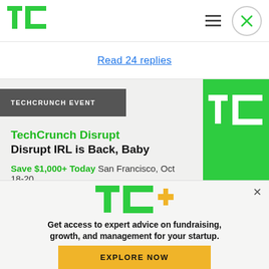TechCrunch header with logo, hamburger menu, and close button
Read 24 replies
TECHCRUNCH EVENT
TechCrunch Disrupt
Disrupt IRL is Back, Baby
Save $1,000+ Today San Francisco, Oct 18-20
[Figure (logo): TC+ logo — TechCrunch Plus in green and yellow]
Get access to expert advice on fundraising, growth, and management for your startup.
EXPLORE NOW